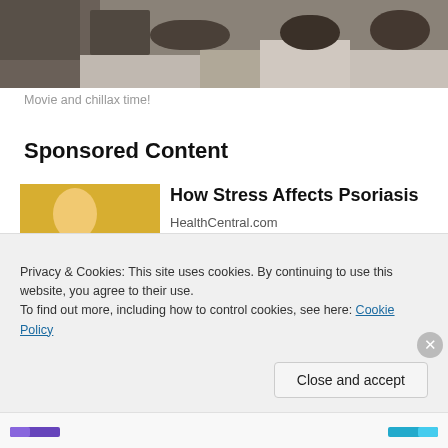[Figure (photo): Partial photo showing people seated on a floor, appears to be a casual indoor gathering or movie-watching scene]
Movie and chillax time!
Sponsored Content
[Figure (photo): Woman in yellow/mustard knit sweater looking at her arm/elbow, advertising image for psoriasis article]
How Stress Affects Psoriasis
HealthCentral.com
Privacy & Cookies: This site uses cookies. By continuing to use this website, you agree to their use.
To find out more, including how to control cookies, see here: Cookie Policy
Close and accept